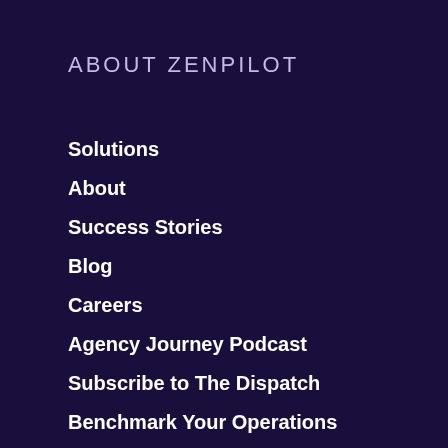ABOUT ZENPILOT
Solutions
About
Success Stories
Blog
Careers
Agency Journey Podcast
Subscribe to The Dispatch
Benchmark Your Operations